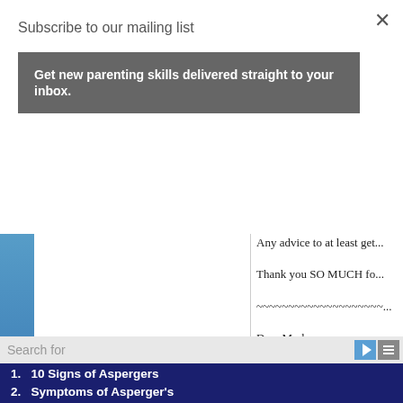Subscribe to our mailing list
Get new parenting skills delivered straight to your inbox.
What do I do to survive t... and got short with him at... happen this weekend.... I find it a real shame as t... me sick. Father doesn't w... Any advice to at least get... Thank you SO MUCH fo... ~~~~~~~~~~~~~~~~~~~~ Dear Mark,
Search for
1. 10 Signs of Aspergers
2. Symptoms of Asperger's